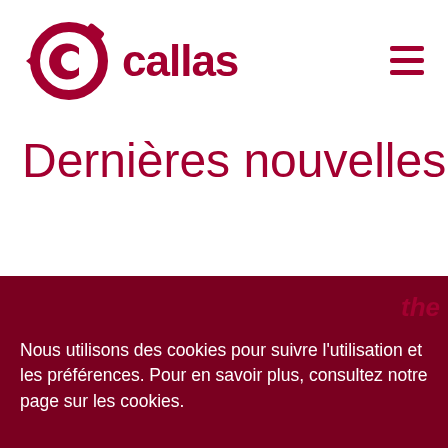[Figure (logo): Callas software logo — circular gear/arrow icon in dark red next to the word 'callas' in bold dark red]
Dernières nouvelles
Nous utilisons des cookies pour suivre l'utilisation et les préférences. Pour en savoir plus, consultez notre page sur les cookies.
préférences
Accepter